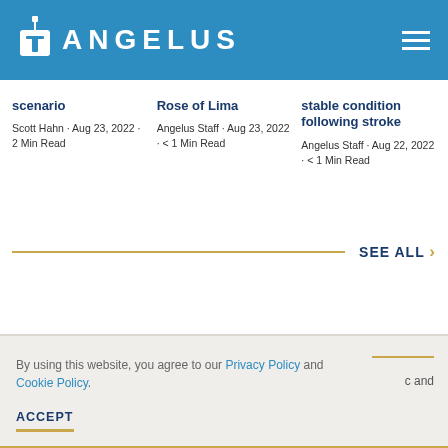ANGELUS
scenario
Scott Hahn · Aug 23, 2022 · 2 Min Read
Rose of Lima
Angelus Staff · Aug 23, 2022 · < 1 Min Read
stable condition following stroke
Angelus Staff · Aug 22, 2022 · < 1 Min Read
SEE ALL
By using this website, you agree to our Privacy Policy and Cookie Policy.
ACCEPT